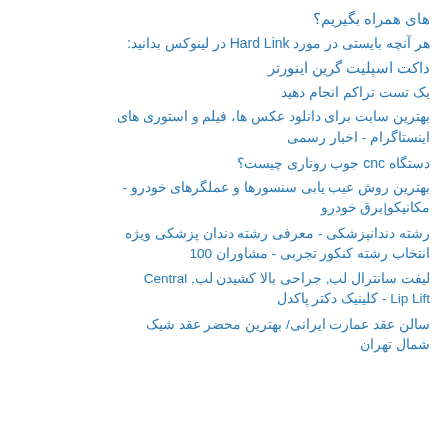های همراه بگیریم؟
هر آنچه بایستی در مورد Hard Link در لینوکس بدانید:
داکت اسپلیت گرین اینورتر
یک تست تراکم انجام دهید
بهترین سایت برای دانلود عکس ها، فیلم و استوری های اینستاگرام - اخبار رسمی
دستگاه cnc جوب روتاری چیست؟
بهترین روش عیب یابی سنسورها و عملگرهای خودرو - مکانیکو|برق خودرو
رشته دندانپزشکی - معرفی رشته دندان پزشکی ویژه انتخاب رشته کنکور تجربی - مشاوران 100
لیفت سانترال لب, جراحی بالا کشیدن لب, Central Lip Lift - کلینیک دکتر پاکدل
سالن عقد عمارت ایرانی/ بهترین محضر عقد شیک شمال تهران